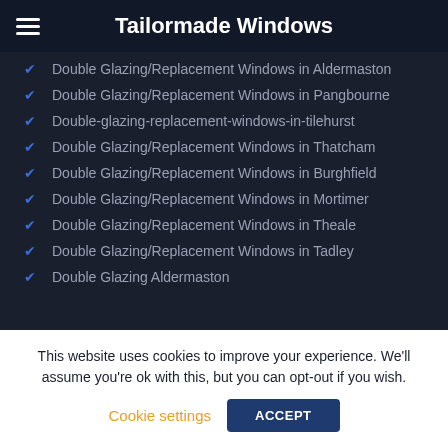Tailormade Windows
Double Glazing/Replacement Windows in Aldermaston
Double Glazing/Replacement Windows in Pangbourne
Double-glazing-replacement-windows-in-tilehurst
Double Glazing/Replacement Windows in Thatcham
Double Glazing/Replacement Windows in Burghfield
Double Glazing/Replacement Windows in Mortimer
Double Glazing/Replacement Windows in Theale
Double Glazing/Replacement Windows in Tadley
Double Glazing Aldermaston
This website uses cookies to improve your experience. We'll assume you're ok with this, but you can opt-out if you wish.
Cookie settings | ACCEPT